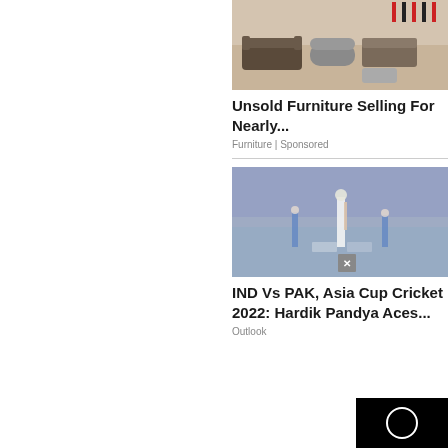[Figure (photo): Furniture showroom with couches, sofas, ottomans on display]
Unsold Furniture Selling For Nearly...
Furniture | Sponsored
[Figure (photo): Cricket match photo, IND vs PAK Asia Cup 2022, players on field]
IND Vs PAK, Asia Cup Cricket 2022: Hardik Pandya Aces...
Outlook